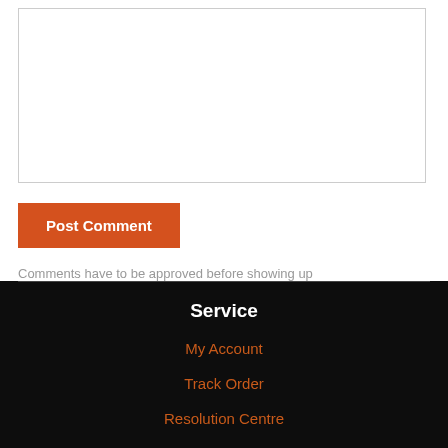[Figure (screenshot): A text area input box (comment field) with a dashed resize handle at bottom-right corner, white background, gray border.]
[Figure (screenshot): Orange 'Post Comment' button]
Comments have to be approved before showing up
Service
My Account
Track Order
Resolution Centre